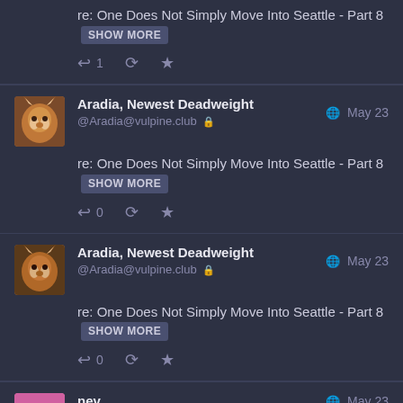re: One Does Not Simply Move Into Seattle - Part 8 [SHOW MORE]
↩ 1  🔁  ★
Aradia, Newest Deadweight  @Aradia@vulpine.club 🔒  May 23
re: One Does Not Simply Move Into Seattle - Part 8 [SHOW MORE]
↩ 0  🔁  ★
Aradia, Newest Deadweight  @Aradia@vulpine.club 🔒  May 23
re: One Does Not Simply Move Into Seattle - Part 8 [SHOW MORE]
↩ 0  🔁  ★
nev  May 23